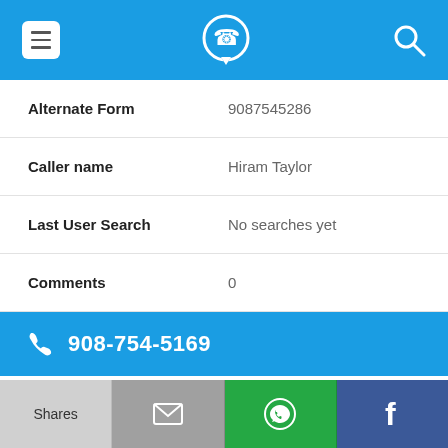App header bar with menu, phone logo, and search icons
| Field | Value |
| --- | --- |
| Alternate Form | 9087545286 |
| Caller name | Hiram Taylor |
| Last User Search | No searches yet |
| Comments | 0 |
908-754-5169
| Field | Value |
| --- | --- |
| Alternate Form | 9087545169 |
Shares | Email | WhatsApp | Facebook